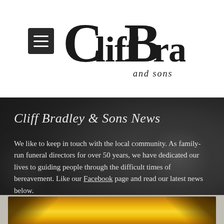[Figure (logo): Cliff Bradley and sons funeral directors logo — large serif text with decorative styling]
Cliff Bradley & Sons News
We like to keep in touch with the local community. As family-run funeral directors for over 50 years, we have dedicated our lives to guiding people through the difficult times of bereavement. Like our Facebook page and read our latest news below.
[Figure (photo): Partial view of a floral arrangement with autumn/golden tones and foliage against an orange background]